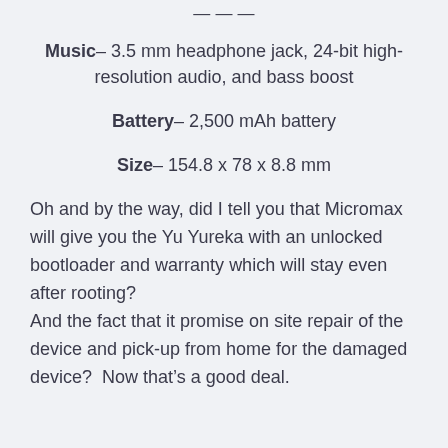... (partial header visible at top)
Music– 3.5 mm headphone jack, 24-bit high-resolution audio, and bass boost
Battery– 2,500 mAh battery
Size– 154.8 x 78 x 8.8 mm
Oh and by the way, did I tell you that Micromax will give you the Yu Yureka with an unlocked bootloader and warranty which will stay even after rooting?
And the fact that it promise on site repair of the device and pick-up from home for the damaged device?  Now that’s a good deal.